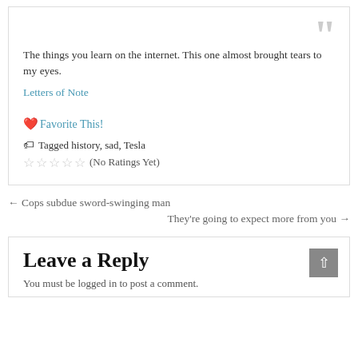The things you learn on the internet. This one almost brought tears to my eyes.
Letters of Note
❤️ Favorite This!
Tagged history, sad, Tesla
☆☆☆☆☆ (No Ratings Yet)
← Cops subdue sword-swinging man
They're going to expect more from you →
Leave a Reply
You must be logged in to post a comment.